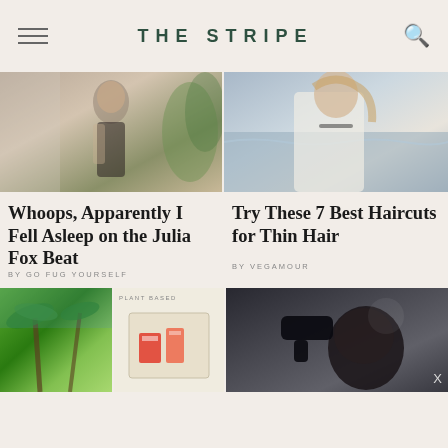THE STRIPE
[Figure (photo): Woman in a black bikini top standing near a pool with tropical plants]
[Figure (photo): Woman in white shirt sitting by the ocean with choker necklace]
Whoops, Apparently I Fell Asleep on the Julia Fox Beat
BY GO FUG YOURSELF
Try These 7 Best Haircuts for Thin Hair
BY VEGAMOUR
[Figure (photo): Tropical palm trees scene]
[Figure (photo): Plant-based product packaging on white surface]
[Figure (photo): Hairdresser blow-drying a client's dark hair in a salon]